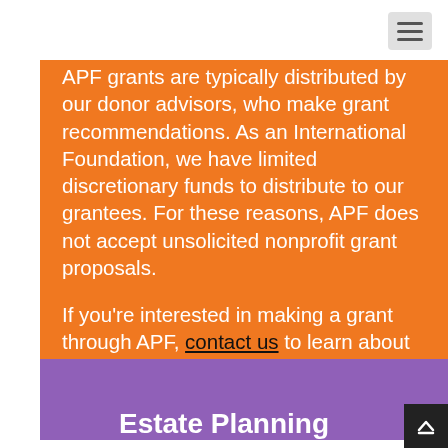APF grants are typically distributed by our donor advisors, who make grant recommendations. As an International Foundation, we have limited discretionary funds to distribute to our grantees. For these reasons, APF does not accept unsolicited nonprofit grant proposals.
If you're interested in making a grant through APF, contact us to learn about setting up a Donor-Advised Fund.
Estate Planning
Planned giving through your estate plan is one of the most rewarding ways to support the causes you care about. But for many, it can be a